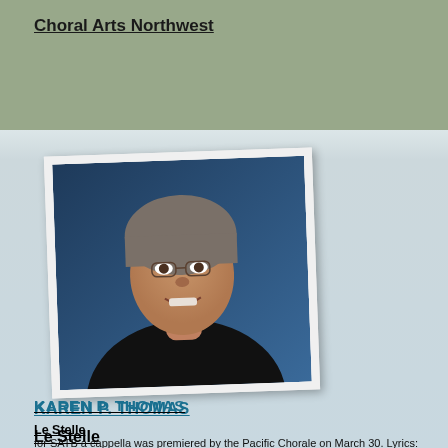Choral Arts Northwest
[Figure (photo): Portrait photo of Karen P. Thomas, a woman with short gray hair and glasses, wearing a black top, smiling against a dark blue background. Photo is shown as a slightly rotated polaroid-style print.]
KAREN P. THOMAS
Le Stelle
for SATB a cappella was premiered by the Pacific Chorale on March 30. Lyrics: Lo duca e io per quel cammino ascosointrammo a ritomar nel chiaro mondo;e sanza cura aver d'alcun riposo,salimmo sù, el primo e io secondo,tanto ch'i' vidi de le cose belleche porta 'l ciel, per un pertugio tondo.E quindi uscimmo a riveder [...]
Three Winter Songs
SATB a cappella / TTBB a cappella / SSA a cappella. Some words here